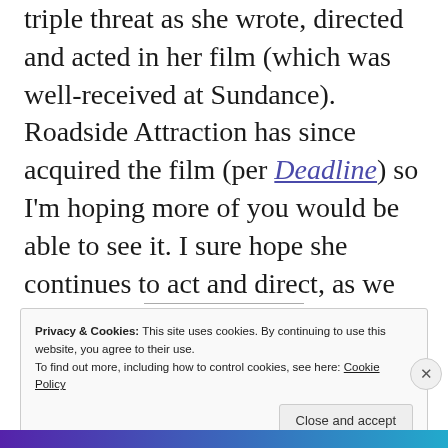triple threat as she wrote, directed and acted in her film (which was well-received at Sundance). Roadside Attraction has since acquired the film (per Deadline) so I'm hoping more of you would be able to see it. I sure hope she continues to act and direct, as we definitely need more good female filmmakers in Hollywood.
Privacy & Cookies: This site uses cookies. By continuing to use this website, you agree to their use. To find out more, including how to control cookies, see here: Cookie Policy
Close and accept